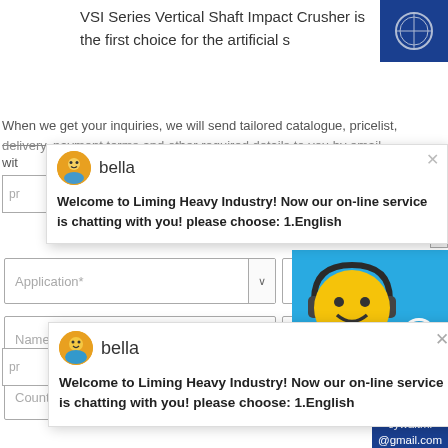VSI Series Vertical Shaft Impact Crusher is the first choice for the artificial s
[Figure (screenshot): Blue box with circular logo/icon in top right corner]
When we get your inquiries, we will send tailored catalogue, pricelist, delivery, payment terms and other required details to you by email
[Figure (screenshot): Chat popup from bella: Welcome to Liming Heavy Industry! Now our on-line service is chatting with you! please choose: 1.English]
Application* dropdown, Capacity* dropdown
Name* field, E-mail* field
Country field, Tel field
Enquiry
cywaitml @gmail.com